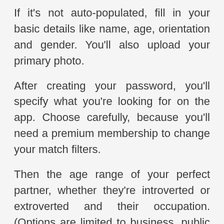If it's not auto-populated, fill in your basic details like name, age, orientation and gender. You'll also upload your primary photo.
After creating your password, you'll specify what you're looking for on the app. Choose carefully, because you'll need a premium membership to change your match filters.
Then the age range of your perfect partner, whether they're introverted or extroverted and their occupation. (Options are limited to business, public service, arts, & IT/science). Style is up next, followed by housing situation.
You can then choose to start a 7-day free trial of Choco Date...